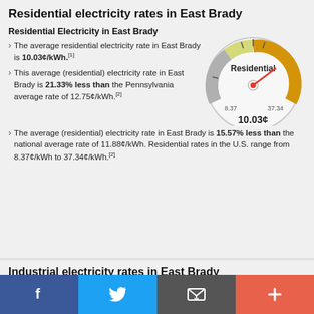Residential electricity rates in East Brady
Residential Electricity in East Brady
The average residential electricity rate in East Brady is 10.03¢/kWh.[1]
This average (residential) electricity rate in East Brady is 21.33% less than the Pennsylvania average rate of 12.75¢/kWh.[2]
[Figure (other): Gauge/speedometer dial showing Residential electricity rate of 10.03¢, with range from 8.37 to 37.34]
The average (residential) electricity rate in East Brady is 15.57% less than the national average rate of 11.88¢/kWh. Residential rates in the U.S. range from 8.37¢/kWh to 37.34¢/kWh.[2]
Industrial electricity rates in East Brady